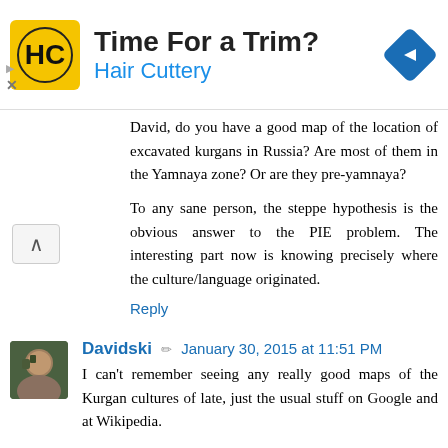[Figure (other): Hair Cuttery advertisement banner with logo, tagline 'Time For a Trim?' and navigation icon]
David, do you have a good map of the location of excavated kurgans in Russia? Are most of them in the Yamnaya zone? Or are they pre-yamnaya?
To any sane person, the steppe hypothesis is the obvious answer to the PIE problem. The interesting part now is knowing precisely where the culture/language originated.
Reply
Davidski   January 30, 2015 at 11:51 PM
I can't remember seeing any really good maps of the Kurgan cultures of late, just the usual stuff on Google and at Wikipedia.
You should try Academia.edu. There are bound to be some papers there with detailed new maps.